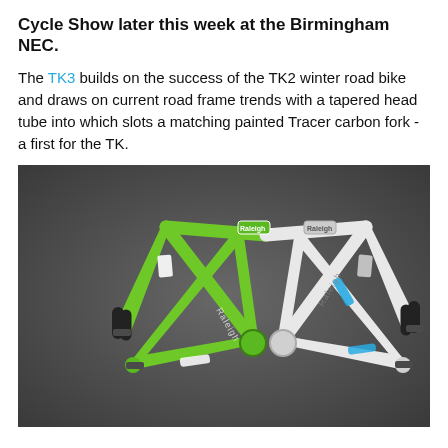Cycle Show later this week at the Birmingham NEC.
The TK3 builds on the success of the TK2 winter road bike and draws on current road frame trends with a tapered head tube into which slots a matching painted Tracer carbon fork - a first for the TK.
[Figure (photo): Two Raleigh TK3 bicycle frames photographed against a dark grey background. One frame is bright green and the other is white with blue accents. Both frames display the Raleigh brand name along the down tube.]